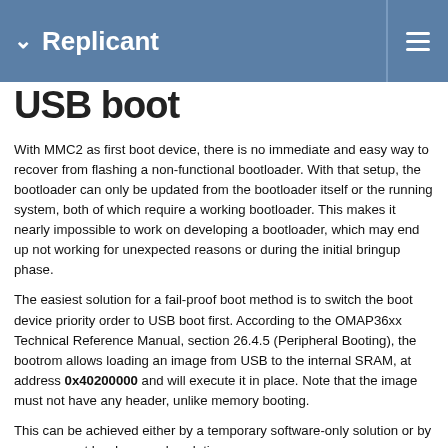Replicant
USB boot
With MMC2 as first boot device, there is no immediate and easy way to recover from flashing a non-functional bootloader. With that setup, the bootloader can only be updated from the bootloader itself or the running system, both of which require a working bootloader. This makes it nearly impossible to work on developing a bootloader, which may end up not working for unexpected reasons or during the initial bringup phase.
The easiest solution for a fail-proof boot method is to switch the boot device priority order to USB boot first. According to the OMAP36xx Technical Reference Manual, section 26.4.5 (Peripheral Booting), the bootrom allows loading an image from USB to the internal SRAM, at address 0x40200000 and will execute it in place. Note that the image must not have any header, unlike memory booting.
This can be achieved either by a temporary software-only solution or by a permanent hardware-only solution.
Loading an image via serial (UART3) is also possible, but given the necessity to solder connectors directly and the difficulty associated with it, this method is not described here.